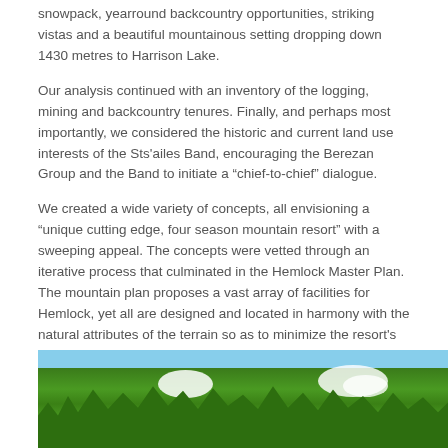snowpack, yearround backcountry opportunities, striking vistas and a beautiful mountainous setting dropping down 1430 metres to Harrison Lake.
Our analysis continued with an inventory of the logging, mining and backcountry tenures. Finally, and perhaps most importantly, we considered the historic and current land use interests of the Sts'ailes Band, encouraging the Berezan Group and the Band to initiate a “chief-to-chief” dialogue.
We created a wide variety of concepts, all envisioning a “unique cutting edge, four season mountain resort” with a sweeping appeal. The concepts were vetted through an iterative process that culminated in the Hemlock Master Plan. The mountain plan proposes a vast array of facilities for Hemlock, yet all are designed and located in harmony with the natural attributes of the terrain so as to minimize the resort's footprint on the land. Hemlock would transform into an easily accessible refuge from the City.
[Figure (photo): Aerial or landscape photo of a forested mountainous area with green tree canopy, patches of snow, and blue sky/water visible in the upper portion.]